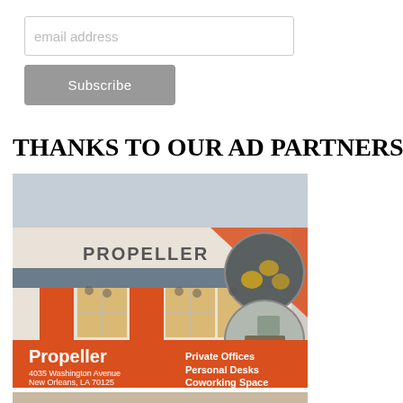email address
Subscribe
THANKS TO OUR AD PARTNERS
[Figure (photo): Propeller coworking space advertisement: exterior photo of the Propeller building at 4035 Washington Avenue, New Orleans, LA 70125. Orange and white branding. Text reads: Propeller, Private Offices, Personal Desks, Coworking Space.]
[Figure (photo): Bottom strip showing a partial photo, appears to be another advertisement or image.]